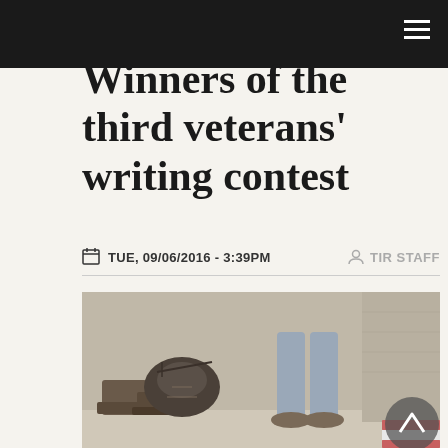Winners of the third veterans' writing contest
TUE, 09/06/2016 - 3:39PM   TIR STAFF
[Figure (photo): A person standing next to military-style boots and a bag on a sidewalk, with a stone wall in the background. A circular back-to-top button overlays the bottom-right corner.]
It's with great pleasure that we announce